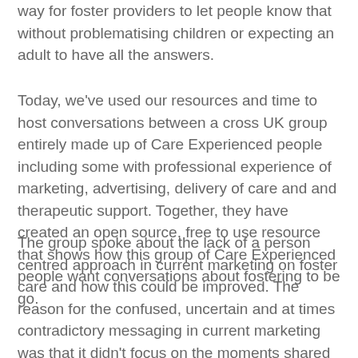way for foster providers to let people know that without problematising children or expecting an adult to have all the answers.
Today, we've used our resources and time to host conversations between a cross UK group entirely made up of Care Experienced people including some with professional experience of marketing, advertising, delivery of care and and therapeutic support. Together, they have created an open source, free to use resource that shows how this group of Care Experienced people want conversations about fostering to be go.
The group spoke about the lack of a person centred approach in current marketing on foster care and how this could be improved. The reason for the confused, uncertain and at times contradictory messaging in current marketing was that it didn't focus on the moments shared between foster parent and child. It didn't focus on the lifelong aspect